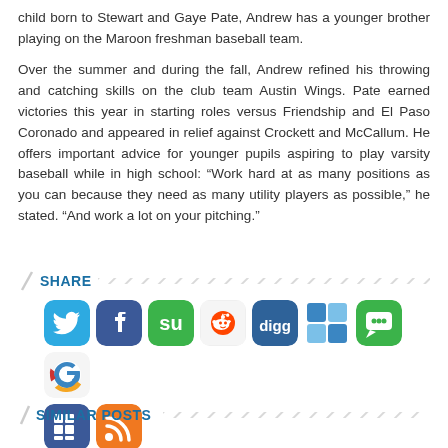child born to Stewart and Gaye Pate, Andrew has a younger brother playing on the Maroon freshman baseball team.
Over the summer and during the fall, Andrew refined his throwing and catching skills on the club team Austin Wings. Pate earned victories this year in starting roles versus Friendship and El Paso Coronado and appeared in relief against Crockett and McCallum. He offers important advice for younger pupils aspiring to play varsity baseball while in high school: “Work hard at as many positions as you can because they need as many utility players as possible,” he stated. “And work a lot on your pitching.”
SHARE
[Figure (infographic): Row of social media share icons: Twitter, Facebook, StumbleUpon, Reddit, Digg, Delicious, Groupme, Google, and two more icons below (Mightybell/grid, RSS feed)]
SIMILAR POSTS